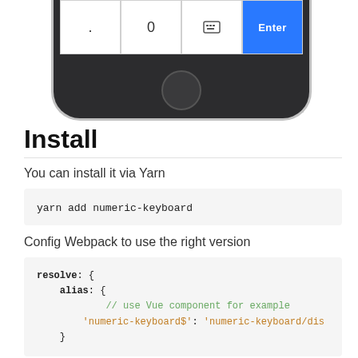[Figure (screenshot): Bottom portion of a smartphone showing a numeric keyboard with period, 0, keyboard icon, and blue Enter button, plus home button on dark body]
Install
You can install it via Yarn
yarn add numeric-keyboard
Config Webpack to use the right version
resolve: {
    alias: {
            // use Vue component for example
        'numeric-keyboard$': 'numeric-keyboard/dis
    }